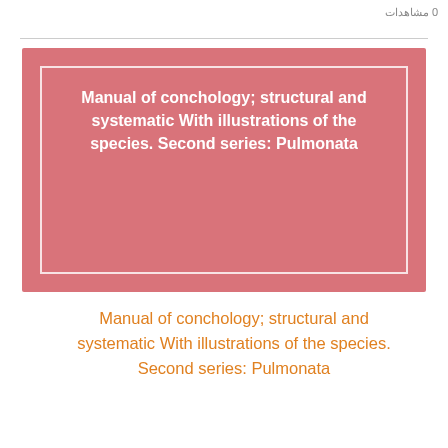0 مشاهدات
[Figure (illustration): Pink book cover with white border and bold white text reading: Manual of conchology; structural and systematic With illustrations of the species. Second series: Pulmonata]
Manual of conchology; structural and systematic With illustrations of the species. Second series: Pulmonata